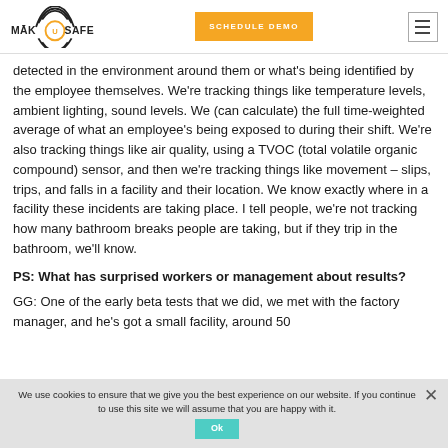MakuSafe — SCHEDULE DEMO
detected in the environment around them or what’s being identified by the employee themselves. We’re tracking things like temperature levels, ambient lighting, sound levels. We (can calculate) the full time-weighted average of what an employee’s being exposed to during their shift. We’re also tracking things like air quality, using a TVOC (total volatile organic compound) sensor, and then we’re tracking things like movement – slips, trips, and falls in a facility and their location. We know exactly where in a facility these incidents are taking place. I tell people, we’re not tracking how many bathroom breaks people are taking, but if they trip in the bathroom, we’ll know.
PS: What has surprised workers or management about results?
GG: One of the early beta tests that we did, we met with the factory manager, and he’s got a small facility, around 50